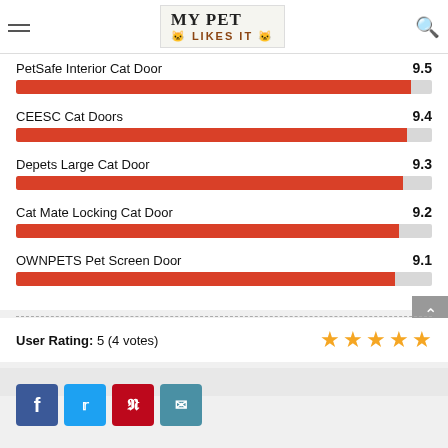MY PET LIKES IT
[Figure (bar-chart): Pet Door Ratings]
User Rating: 5 (4 votes)
[Figure (infographic): 5 orange stars rating display]